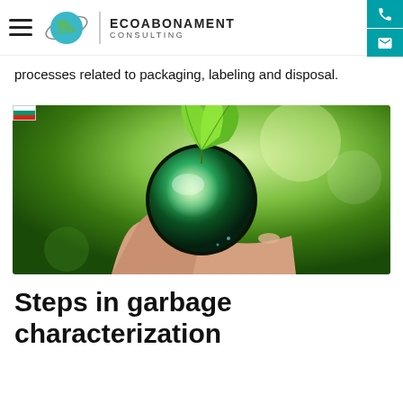ECOABONAMENT CONSULTING
processes related to packaging, labeling and disposal.
[Figure (photo): A hand holding a green glowing globe Earth with green leaves growing from the top, set against a lush green forest background.]
Steps in garbage characterization